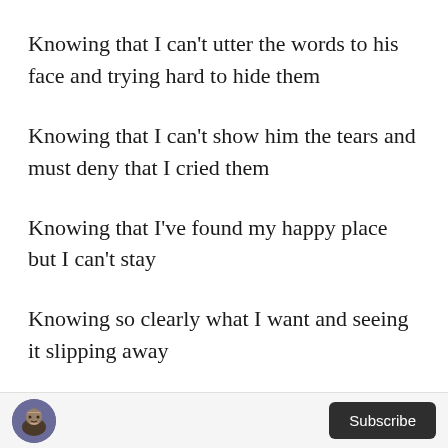Knowing that I can't utter the words to his face and trying hard to hide them
Knowing that I can't show him the tears and must deny that I cried them
Knowing that I've found my happy place but I can't stay
Knowing so clearly what I want and seeing it slipping away
[Figure (illustration): Small circular avatar icon showing an armored or fantasy warrior character]
Subscribe